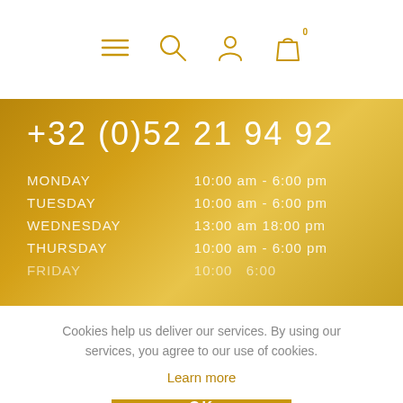[Figure (screenshot): Navigation bar with hamburger menu, search icon, account icon, and shopping bag icon with 0 badge]
+32 (0)52 21 94 92
| Day | Hours |
| --- | --- |
| MONDAY | 10:00 am - 6:00 pm |
| TUESDAY | 10:00 am - 6:00 pm |
| WEDNESDAY | 13:00 am 18:00 pm |
| THURSDAY | 10:00 am - 6:00 pm |
| FRIDAY | 10:00 ... 6:00 |
Cookies help us deliver our services. By using our services, you agree to our use of cookies.
Learn more
OK